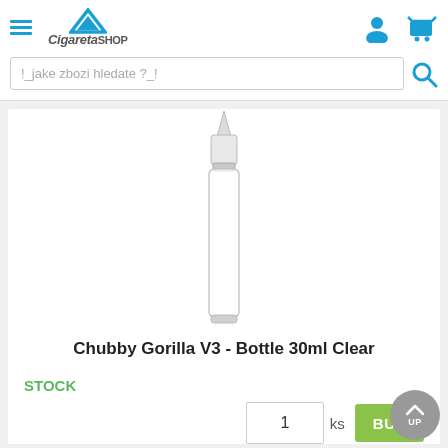CigaretaSHOP - navigation header with hamburger menu, logo, user icon, cart icon, and search bar
[Figure (photo): A clear plastic dropper bottle (Chubby Gorilla V3 format) with a pointed tip cap, 30ml size, transparent]
Chubby Gorilla V3 - Bottle 30ml Clear
STOCK
1 ks  BUY